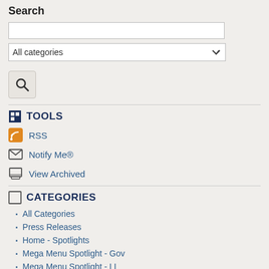Search
[Figure (screenshot): Search input box (text field), dropdown selector showing 'All categories' with chevron, and a search button with magnifying glass icon]
TOOLS
RSS
Notify Me®
View Archived
CATEGORIES
All Categories
Press Releases
Home - Spotlights
Mega Menu Spotlight - Gov
Mega Menu Spotlight - LL
Mega Menu Spotlight - DB
Mega Menu Spotlight - Services
NEWS - General Government
NEWS - Recreation Services